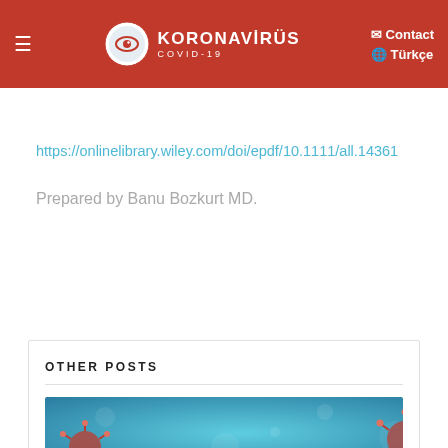KORONAVİRÜS COVID-19 | Contact | Türkçe
https://onlinelibrary.wiley.com/doi/epdf/10.1111/all.14361
Prepared by Banu Bozkurt MD.
OTHER POSTS
[Figure (photo): Coronavirus particles on blue background, microscopic illustration]